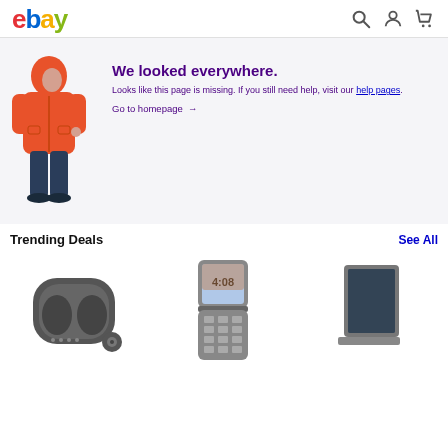ebay [logo] with search, account, cart icons
[Figure (illustration): Child wearing orange hooded puffer jacket and dark jeans, facing sideways with hood pulled up]
We looked everywhere.
Looks like this page is missing. If you still need help, visit our help pages.
Go to homepage →
Trending Deals
See All
[Figure (photo): Dark grey wireless earbuds in charging case]
[Figure (photo): Flip mobile phone showing time 4:08 on display]
[Figure (photo): Laptop or tablet device partially visible at right edge]